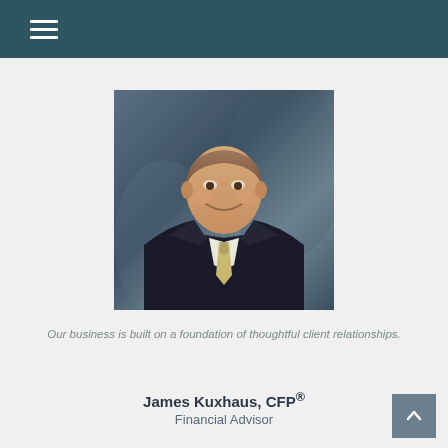[Figure (photo): Professional headshot of James Kuxhaus, a middle-aged man in a dark suit and gold/yellow tie, smiling, against a dark blue-grey background]
Our business is built on a foundation of thoughtful client relationships.
James Kuxhaus, CFP®
Financial Advisor